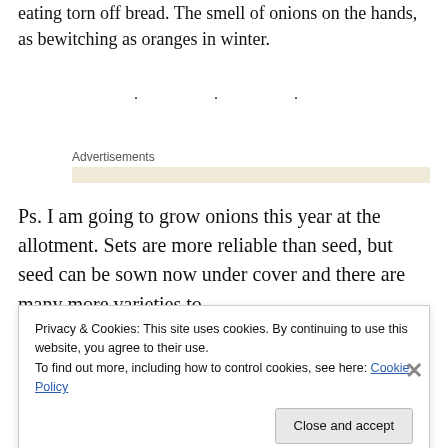eating torn off bread. The smell of onions on the hands, as bewitching as oranges in winter.
· · ·
Advertisements
Ps. I am going to grow onions this year at the allotment. Sets are more reliable than seed, but seed can be sown now under cover and there are many more varieties to
Privacy & Cookies: This site uses cookies. By continuing to use this website, you agree to their use.
To find out more, including how to control cookies, see here: Cookie Policy
Close and accept